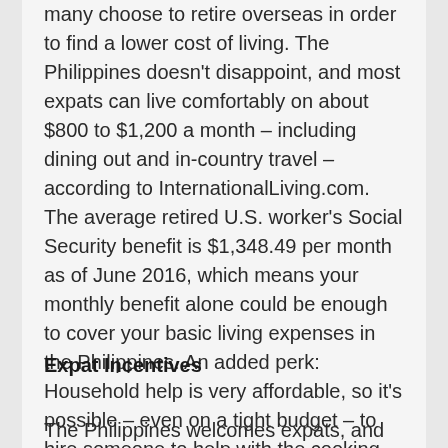many choose to retire overseas in order to find a lower cost of living. The Philippines doesn't disappoint, and most expats can live comfortably on about $800 to $1,200 a month – including dining out and in-country travel – according to InternationalLiving.com. The average retired U.S. worker's Social Security benefit is $1,348.49 per month as of June 2016, which means your monthly benefit alone could be enough to cover your basic living expenses in the Philippines. An added perk: Household help is very affordable, so it's possible – even on a tight budget – to hire someone to help with the cooking and cleaning. For more, see Retire in the Philippines with $200,000 of Savings?
Expat Incentives
The Philippines welcomes expats, and even